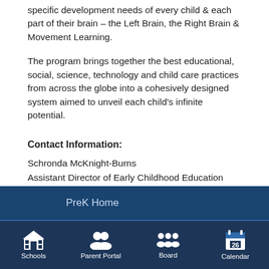specific development needs of every child & each part of their brain – the Left Brain, the Right Brain & Movement Learning.
The program brings together the best educational, social, science, technology and child care practices from across the globe into a cohesively designed system aimed to unveil each child's infinite potential.
Contact Information:
Schronda McKnight-Burns
Assistant Director of Early Childhood Education
979-209-1061
schronda.burns@bryanisd.org
PreK Home
Eligibility
Schools  Parent Portal  Board  Calendar